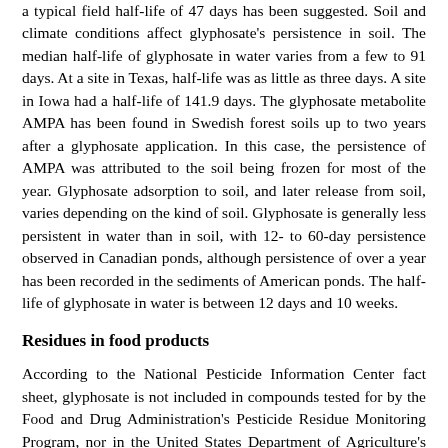a typical field half-life of 47 days has been suggested. Soil and climate conditions affect glyphosate's persistence in soil. The median half-life of glyphosate in water varies from a few to 91 days. At a site in Texas, half-life was as little as three days. A site in Iowa had a half-life of 141.9 days. The glyphosate metabolite AMPA has been found in Swedish forest soils up to two years after a glyphosate application. In this case, the persistence of AMPA was attributed to the soil being frozen for most of the year. Glyphosate adsorption to soil, and later release from soil, varies depending on the kind of soil. Glyphosate is generally less persistent in water than in soil, with 12- to 60-day persistence observed in Canadian ponds, although persistence of over a year has been recorded in the sediments of American ponds. The half-life of glyphosate in water is between 12 days and 10 weeks.
Residues in food products
According to the National Pesticide Information Center fact sheet, glyphosate is not included in compounds tested for by the Food and Drug Administration's Pesticide Residue Monitoring Program, nor in the United States Department of Agriculture's Pesticide Data Program. However, a field test showed that lettuce, carrots, and barley contained glyphosate residues up to one year after the soil was treated with 3.71 lb of glyphosate per acre (4.15 kg per hectare). The U.S. has determined the acceptable daily intake of glyphosate at 1.75 milligrams per kilogram of body weight per day.